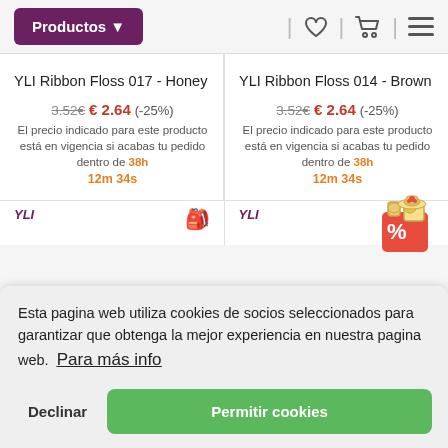Productos ▾
YLI Ribbon Floss 017 - Honey
3.52€ € 2.64 (-25%)
El precio indicado para este producto está en vigencia si acabas tu pedido dentro de 38h 12m 34s
YLI Ribbon Floss 014 - Brown
3.52€ € 2.64 (-25%)
El precio indicado para este producto está en vigencia si acabas tu pedido dentro de 38h 12m 34s
Esta pagina web utiliza cookies de socios seleccionados para garantizar que obtenga la mejor experiencia en nuestra pagina web. Para más info
Declinar
Permitir cookies